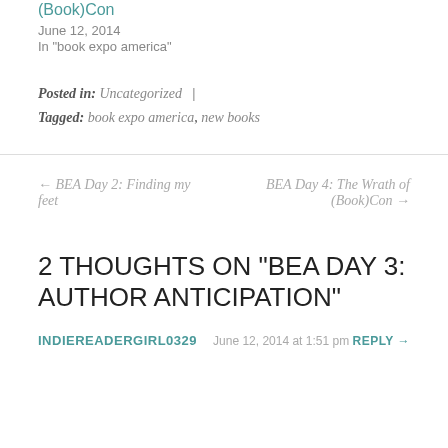(Book)Con
June 12, 2014
In "book expo america"
Posted in: Uncategorized  |
Tagged: book expo america, new books
← BEA Day 2: Finding my feet
BEA Day 4: The Wrath of (Book)Con →
2 THOUGHTS ON "BEA DAY 3: AUTHOR ANTICIPATION"
INDIEREADERGIRL0329  June 12, 2014 at 1:51 pm  REPLY →